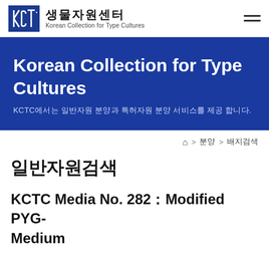KCTC 생물자원센터 Korean Collection for Type Cultures
Korean Collection for Type Cultures
KCTC에서는 일반자원 분양과 특허자원 분양 서비스를 제공 합니다.
⌂ > 분양 > 배지검색
일반자원검색
KCTC Media No. 282 : Modified PYG-Medium